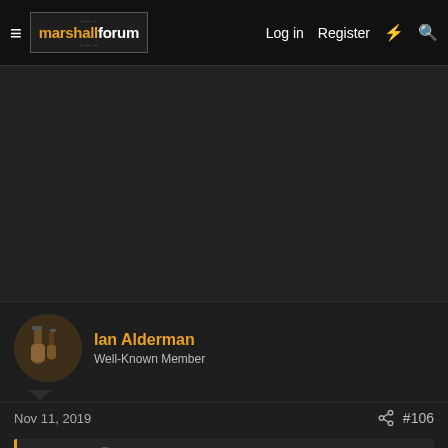marshallforum — Log in  Register
[Figure (screenshot): Dark background area filling most of page]
Ian Alderman
Well-Known Member
Nov 11, 2019   #106
scozz said: